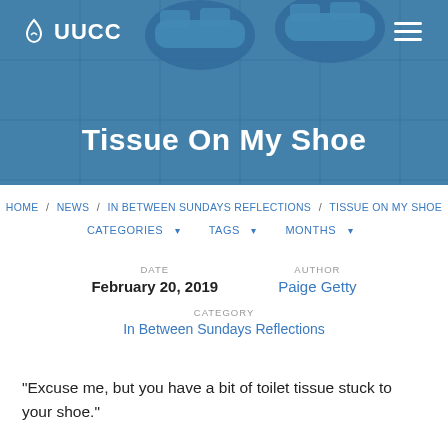[Figure (photo): Hero banner with blue-tinted photo of sneakers on tiled floor, UUCC logo top left, hamburger menu top right]
Tissue On My Shoe
HOME / NEWS / IN BETWEEN SUNDAYS REFLECTIONS / TISSUE ON MY SHOE
CATEGORIES ▾  TAGS ▾  MONTHS ▾
DATE
February 20, 2019
AUTHOR
Paige Getty
CATEGORY
In Between Sundays Reflections
“Excuse me, but you have a bit of toilet tissue stuck to your shoe.”